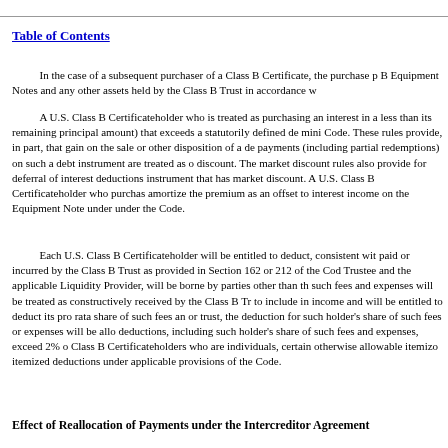In the case of a subsequent purchaser of a Class B Certificate, the purchase price of the Class B Equipment Notes and any other assets held by the Class B Trust in accordance with...
A U.S. Class B Certificateholder who is treated as purchasing an interest in a debt instrument at a market discount (i.e., less than its remaining principal amount) that exceeds a statutorily defined de minimis amount will be subject to the market discount rules of the Code. These rules provide, in part, that gain on the sale or other disposition of a debt instrument and payments (including partial redemptions) on such a debt instrument are treated as ordinary income to the extent of accrued market discount. The market discount rules also provide for deferral of interest deductions allocable to indebtedness incurred to purchase a debt instrument that has market discount. A U.S. Class B Certificateholder who purchases a Certificate at a premium may elect to amortize the premium as an offset to interest income on the Equipment Note underlying such Certificate as provided under the Code.
Each U.S. Class B Certificateholder will be entitled to deduct, consistent with the Code, its pro rata share of fees paid or incurred by the Class B Trust as provided in Section 162 or 212 of the Code. Fees and expenses of the Trustee and the applicable Liquidity Provider, will be borne by parties other than the Class B Trust certificateholders but such fees and expenses will be treated as constructively received by the Class B Trust certificateholders. Each will have to include in income and will be entitled to deduct its pro rata share of such fees and expenses. For a Class B holder or trust, the deduction for such holder's share of such fees or expenses will be allowable only to the extent that all miscellaneous deductions, including such holder's share of such fees and expenses, exceed 2% of the holder's adjusted gross income. For Class B Certificateholders who are individuals, certain otherwise allowable itemized deductions are subject to further limitations on itemized deductions under applicable provisions of the Code.
Effect of Reallocation of Payments under the Intercreditor Agreement